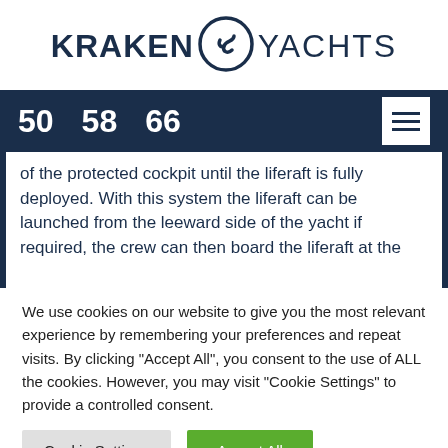KRAKEN YACHTS
50   58   66
of the protected cockpit until the liferaft is fully deployed. With this system the liferaft can be launched from the leeward side of the yacht if required, the crew can then board the liferaft at the
We use cookies on our website to give you the most relevant experience by remembering your preferences and repeat visits. By clicking "Accept All", you consent to the use of ALL the cookies. However, you may visit "Cookie Settings" to provide a controlled consent.
Cookie Settings   Accept All